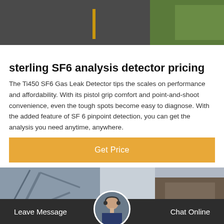[Figure (photo): Aerial view of a road with yellow markings and green grass area]
sterling SF6 analysis detector pricing
The Ti450 SF6 Gas Leak Detector tips the scales on performance and affordability. With its pistol grip comfort and point-and-shoot convenience, even the tough spots become easy to diagnose. With the added feature of SF 6 pinpoint detection, you can get the analysis you need anytime, anywhere.
Get Price
[Figure (photo): Industrial crane and machinery in a grey overcast setting]
Leave Message   Chat Online